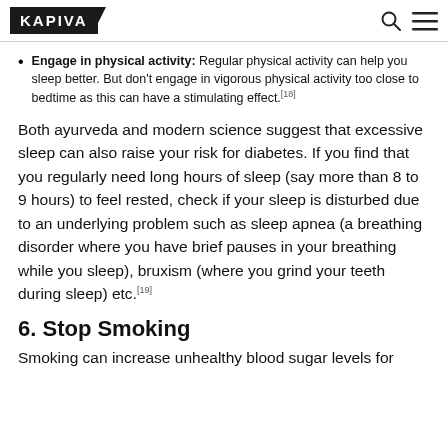KAPIVA
Engage in physical activity: Regular physical activity can help you sleep better. But don't engage in vigorous physical activity too close to bedtime as this can have a stimulating effect.[18]
Both ayurveda and modern science suggest that excessive sleep can also raise your risk for diabetes. If you find that you regularly need long hours of sleep (say more than 8 to 9 hours) to feel rested, check if your sleep is disturbed due to an underlying problem such as sleep apnea (a breathing disorder where you have brief pauses in your breathing while you sleep), bruxism (where you grind your teeth during sleep) etc.[19]
6. Stop Smoking
Smoking can increase unhealthy blood sugar levels for